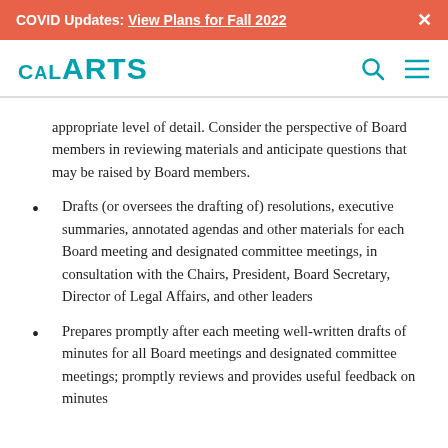COVID Updates: View Plans for Fall 2022  ×
[Figure (logo): CalARTS logo in teal, with search and menu icons]
appropriate level of detail. Consider the perspective of Board members in reviewing materials and anticipate questions that may be raised by Board members.
Drafts (or oversees the drafting of) resolutions, executive summaries, annotated agendas and other materials for each Board meeting and designated committee meetings, in consultation with the Chairs, President, Board Secretary, Director of Legal Affairs, and other leaders
Prepares promptly after each meeting well-written drafts of minutes for all Board meetings and designated committee meetings; promptly reviews and provides useful feedback on minutes drafted by others